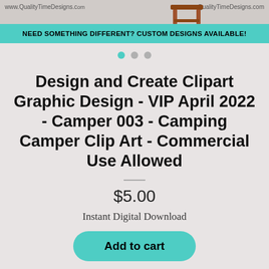[Figure (screenshot): Product listing banner with www.QualityTimeDesigns.com watermark, a wooden table image, and a teal bar reading 'NEED SOMETHING DIFFERENT? CUSTOM DESIGNS AVAILABLE!']
Design and Create Clipart Graphic Design - VIP April 2022 - Camper 003 - Camping Camper Clip Art - Commercial Use Allowed
$5.00
Instant Digital Download
Add to cart
Ask a question